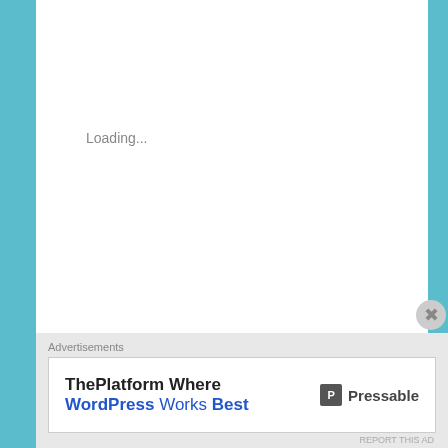Loading...
RELATED
Sinterklaas, Nikolaus, Befana or Heilige Drei Könige?
December 5, 2012
In "Culture/Traditions"
Which tradition do you maintain around Christmas?
December 3, 2015
In "Culture/Traditions"
Sinterklaas in the Netherlands: mid
Advertisements
[Figure (other): Pressable WordPress advertisement banner: 'ThePlatform Where WordPress Works Best' with Pressable logo]